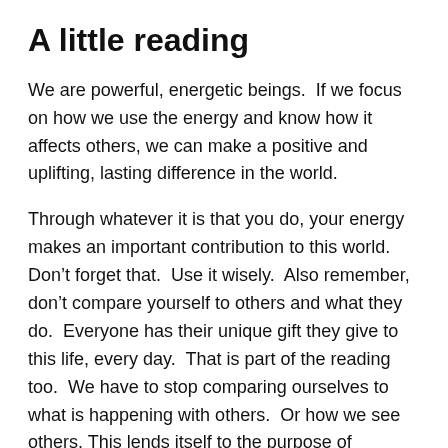A little reading
We are powerful, energetic beings.  If we focus on how we use the energy and know how it affects others, we can make a positive and uplifting, lasting difference in the world.
Through whatever it is that you do, your energy makes an important contribution to this world.  Don’t forget that.  Use it wisely.  Also remember, don’t compare yourself to others and what they do.  Everyone has their unique gift they give to this life, every day.  That is part of the reading too.  We have to stop comparing ourselves to what is happening with others.  Or how we see others. This lends itself to the purpose of knowing how to use the energy properly and knowing how it affects others.  By comparing, we are putting out the energy of lack where their isn’t any.  It can